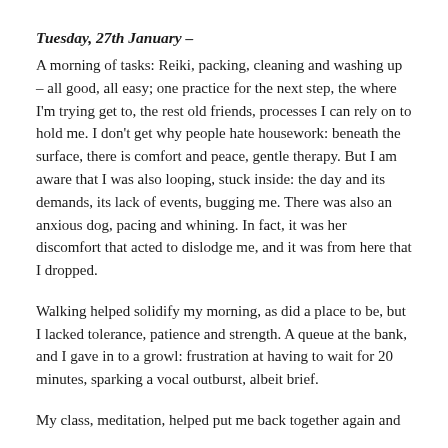Tuesday, 27th January –
A morning of tasks: Reiki, packing, cleaning and washing up – all good, all easy; one practice for the next step, the where I'm trying get to, the rest old friends, processes I can rely on to hold me. I don't get why people hate housework: beneath the surface, there is comfort and peace, gentle therapy. But I am aware that I was also looping, stuck inside: the day and its demands, its lack of events, bugging me. There was also an anxious dog, pacing and whining. In fact, it was her discomfort that acted to dislodge me, and it was from here that I dropped.
Walking helped solidify my morning, as did a place to be, but I lacked tolerance, patience and strength. A queue at the bank, and I gave in to a growl: frustration at having to wait for 20 minutes, sparking a vocal outburst, albeit brief.
My class, meditation, helped put me back together again and